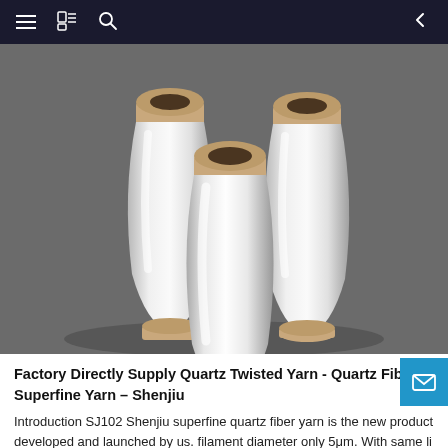navigation bar with menu, bookmark, search, and back icons
[Figure (photo): Three white quartz fiber yarn bobbins/spools with beige/tan tops arranged together against a grey background]
Factory Directly Supply Quartz Twisted Yarn - Quartz Fiber Superfine Yarn – Shenjiu
Introduction SJ102 Shenjiu superfine quartz fiber yarn is the new product developed and launched by us. filament diameter only 5μm. With same li